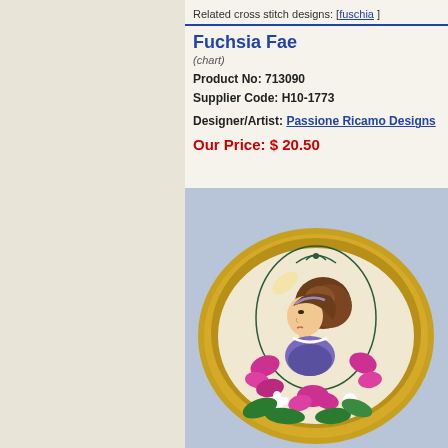Related cross stitch designs: [ fuschia ]
Fuchsia Fae
(chart)
Product No: 713090
Supplier Code: H10-1773
Designer/Artist: Passione Ricamo Designs
Our Price: $ 20.50
[Figure (photo): Cross stitch design of a fairy/fae woman with brown hair, wearing a blue and purple outfit, surrounded by pink fuchsia flowers and green leaves, displayed in a gold oval frame.]